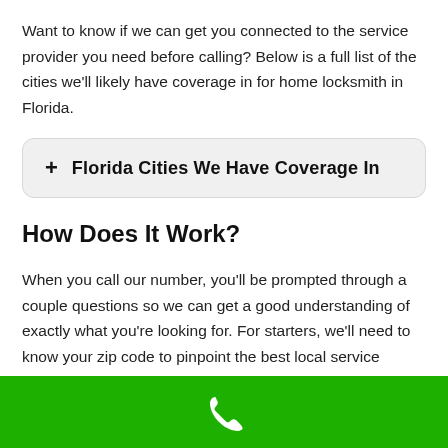Want to know if we can get you connected to the service provider you need before calling? Below is a full list of the cities we'll likely have coverage in for home locksmith in Florida.
+ Florida Cities We Have Coverage In
How Does It Work?
When you call our number, you'll be prompted through a couple questions so we can get a good understanding of exactly what you're looking for. For starters, we'll need to know your zip code to pinpoint the best local service provider near you.
Once you go through all the prompts, your call will be quickly directed to a local home locksmith service provider. It's that simple!
[Figure (other): Green footer bar with white phone icon]